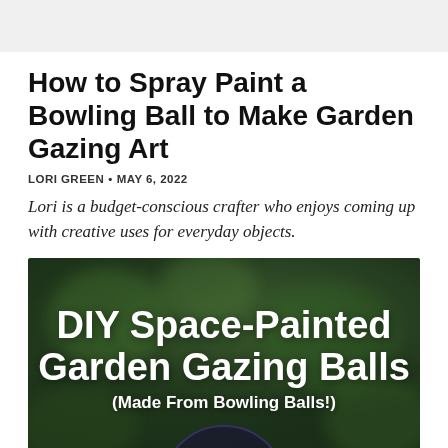How to Spray Paint a Bowling Ball to Make Garden Gazing Art
LORI GREEN • MAY 6, 2022
Lori is a budget-conscious crafter who enjoys coming up with creative uses for everyday objects.
[Figure (photo): Dark green bokeh background with bold white text overlay reading 'DIY Space-Painted Garden Gazing Balls (Made From Bowling Balls!)' and a partially visible bowling ball at the bottom.]